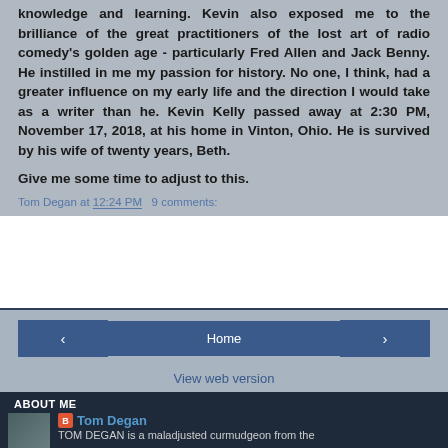knowledge and learning. Kevin also exposed me to the brilliance of the great practitioners of the lost art of radio comedy's golden age - particularly Fred Allen and Jack Benny. He instilled in me my passion for history. No one, I think, had a greater influence on my early life and the direction I would take as a writer than he. Kevin Kelly passed away at 2:30 PM, November 17, 2018, at his home in Vinton, Ohio. He is survived by his wife of twenty years, Beth.
Give me some time to adjust to this.
Tom Degan at 12:24 PM   9 comments:
[Figure (screenshot): Navigation buttons: back arrow, Home, forward arrow, and View web version link]
ABOUT ME
Tom Degan
TOM DEGAN is a maladjusted curmudgeon from the